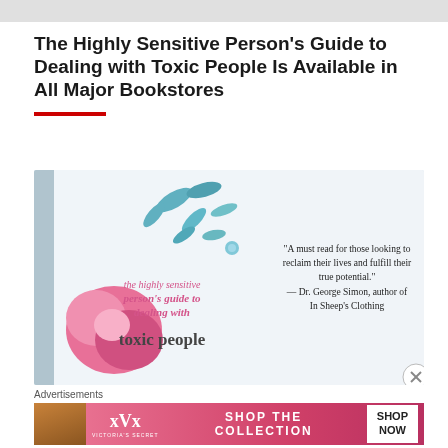The Highly Sensitive Person's Guide to Dealing with Toxic People Is Available in All Major Bookstores
[Figure (photo): Book cover of 'The Highly Sensitive Person's Guide to Dealing with Toxic People' showing floral design with pink roses and teal leaves, with a quote: 'A must read for those looking to reclaim their lives and fulfill their true potential.' — Dr. George Simon, author of In Sheep's Clothing]
Advertisements
[Figure (photo): Victoria's Secret advertisement banner: SHOP THE COLLECTION — SHOP NOW]